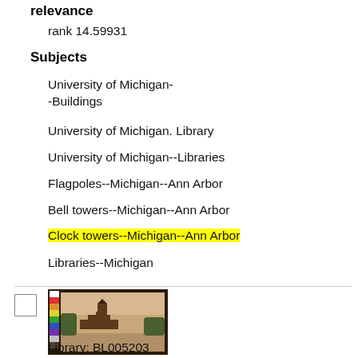relevance
rank 14.59931
Subjects
University of Michigan--Buildings
University of Michigan. Library
University of Michigan--Libraries
Flagpoles--Michigan--Ann Arbor
Bell towers--Michigan--Ann Arbor
Clock towers--Michigan--Ann Arbor
Libraries--Michigan
[Figure (photo): Sepia-toned photograph of a university building with a tower, framed in a dark border, with a color calibration strip on the left side.]
Library: BL005203